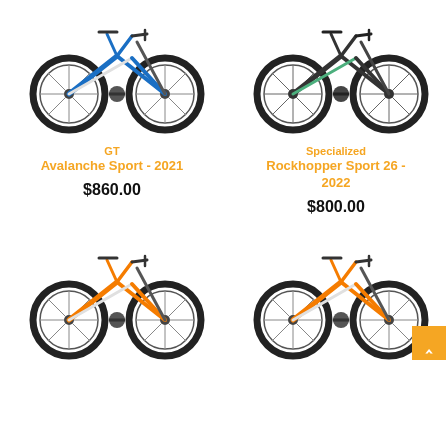[Figure (photo): Blue GT mountain bike (GT Avalanche Sport 2021) on white background]
[Figure (photo): Dark grey/black Specialized mountain bike (Rockhopper Sport 26 2022) on white background]
GT
Avalanche Sport - 2021
$860.00
Specialized
Rockhopper Sport 26 - 2022
$800.00
[Figure (photo): Orange mountain bike (bottom left) on white background]
[Figure (photo): Orange mountain bike (bottom right) on white background]